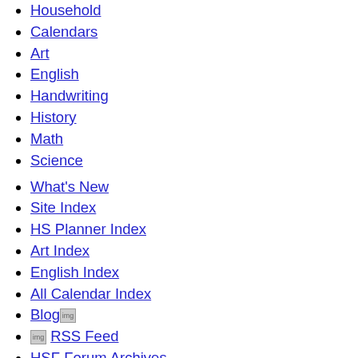Household
Calendars
Art
English
Handwriting
History
Math
Science
What's New
Site Index
HS Planner Index
Art Index
English Index
All Calendar Index
Blog [blog icon]
[internet icon] RSS Feed
HSF Forum Archives
HSF Cookbook
Articles
Composition Book Handwriting Lessons
Homemade Handwriting Lessons: Manuscript
Homemade Handwriting Lessons: Cursive
An Idea to Study Words
Make a Word Book - companion page to previous link